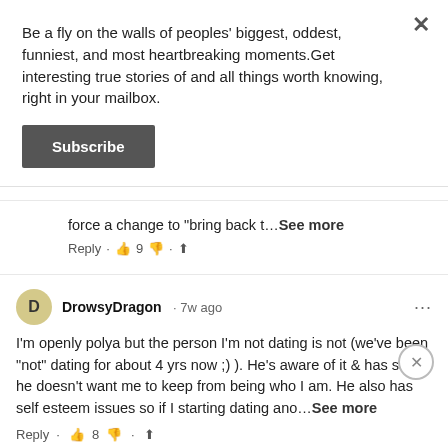Be a fly on the walls of peoples' biggest, oddest, funniest, and most heartbreaking moments.Get interesting true stories of and all things worth knowing, right in your mailbox.
Subscribe
force a change to "bring back t...See more
Reply · 👍 9 👎 · ⬆
DrowsyDragon · 7w ago
I'm openly polya but the person I'm not dating is not (we've been "not" dating for about 4 yrs now ;) ). He's aware of it & has said he doesn't want me to keep from being who I am. He also has self esteem issues so if I starting dating ano...See more
Reply · 👍 8 👎 · ⬆
KCW · 15w ago